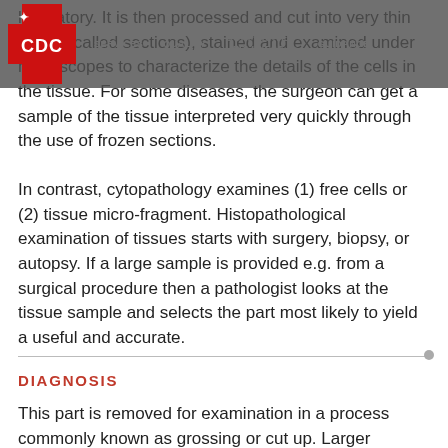[Figure (logo): CDC logo — red cross with white CDC letters and red star, overlaid on dark navigation bar with menu items: SERVICES, QUALITY, CORPORATE WELLNESS, GUIDANCE]
laboratory. It is then processed and cut into very thin layers (called sections), stained and examined under microscopes to characterize the details of the cells in the tissue. For some diseases, the surgeon can get a sample of the tissue interpreted very quickly through the use of frozen sections.
In contrast, cytopathology examines (1) free cells or (2) tissue micro-fragment. Histopathological examination of tissues starts with surgery, biopsy, or autopsy. If a large sample is provided e.g. from a surgical procedure then a pathologist looks at the tissue sample and selects the part most likely to yield a useful and accurate.
DIAGNOSIS
This part is removed for examination in a process commonly known as grossing or cut up. Larger